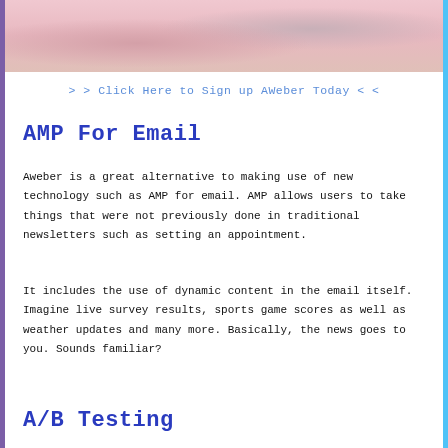[Figure (photo): Partial photo of a person wearing pink/light clothing, cropped at top of page]
> > Click Here to Sign up AWeber Today < <
AMP For Email
Aweber is a great alternative to making use of new technology such as AMP for email. AMP allows users to take things that were not previously done in traditional newsletters such as setting an appointment.
It includes the use of dynamic content in the email itself. Imagine live survey results, sports game scores as well as weather updates and many more. Basically, the news goes to you. Sounds familiar?
A/B Testing